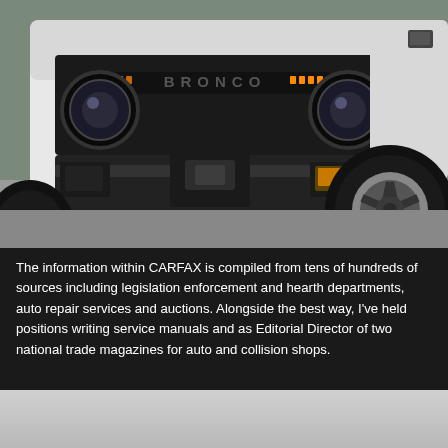[Figure (photo): Close-up front-end photograph of a white Ford Bronco SUV showing the grille with BRONCO lettering illuminated in orange/amber LEDs, round headlights, heavy-duty front bumper with winch, and large off-road tires with alloy wheels. Taken from a low angle outdoors.]
The information within CARFAX is compiled from tens of hundreds of sources including legislation enforcement and hearth departments, auto repair services and auctions. Alongside the best way, I've held positions writing service manuals and as Editorial Director of two national trade magazines for auto and collision shops.
[Figure (photo): Partial photo of a light gray/silver surface, likely the lower portion of a vehicle or road, with very faint details visible.]